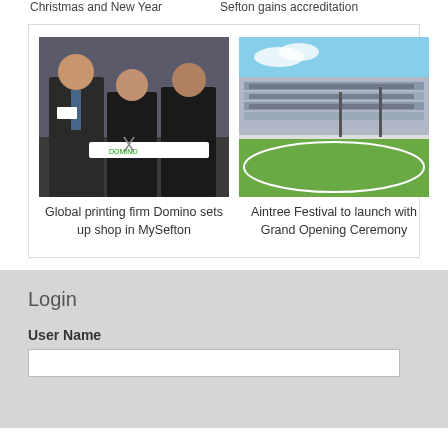Christmas and New Year
Sefton gains accreditation
[Figure (photo): Three people in black uniforms cutting a ribbon with Domino branding at a printing firm event]
Global printing firm Domino sets up shop in MySefton
[Figure (photo): Aerial view of Aintree racecourse stands packed with crowds on a sunny day]
Aintree Festival to launch with Grand Opening Ceremony
Login
User Name